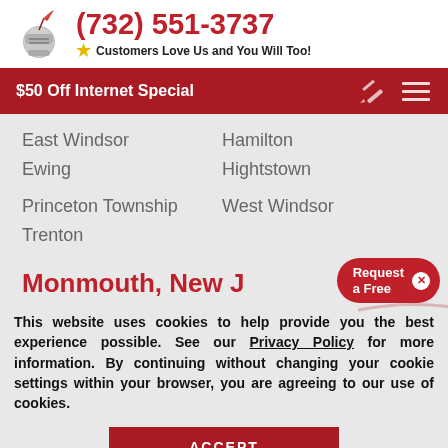[Figure (logo): Knight helmet logo with quill pen icon]
(732) 551-3737
Customers Love Us and You Will Too!
$50 Off Internet Special
East Windsor
Hamilton
Ewing
Hightstown
Princeton Township
West Windsor
Trenton
Monmouth, New J
This website uses cookies to help provide you the best experience possible. See our Privacy Policy for more information. By continuing without changing your cookie settings within your browser, you are agreeing to our use of cookies.
ACCEPT